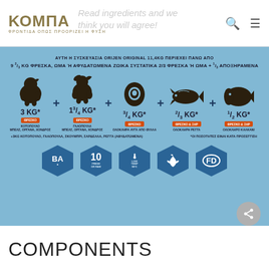ΚΟΜΠΑ — ΦΡΟΝΤΙΔΑ ΟΠΩΣ ΠΡΟΟΡΙΖΕΙ Η ΦΥΣΗ — Read ingredients and we think you will agree!
[Figure (infographic): Infographic on light blue background showing ORIJEN ORIGINAL 11.4kg package contains over 9 2/3 KG fresh, raw or dehydrated animal ingredients: 3KG chicken (fresh), 1 3/4 KG turkey (fresh), 3/4 KG whole eggs (fresh), 2/3 KG whole herring (fresh & dried), 1/2 KG whole flounder (fresh & dried). Five silhouette icons. Five badge hexagons: BA, 10 FRESH..., LOW TEMP 90°C, bird icon, FD.]
COMPONENTS